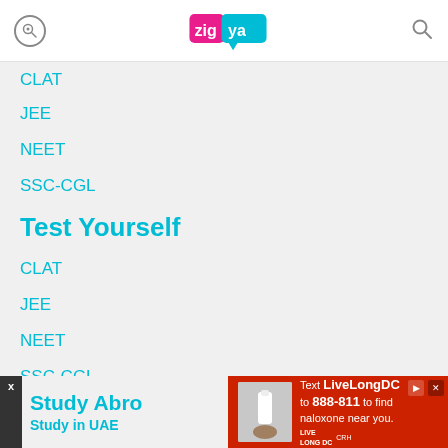zigya
CLAT
JEE
NEET
SSC-CGL
Test Yourself
CLAT
JEE
NEET
SSC-CGL
Study Abro
Study in UAE
[Figure (infographic): Red advertisement banner: Text LiveLongDC to 888-811 to find naloxone near you. Live Long DC and CRH logos shown with a hand holding a naloxone device.]